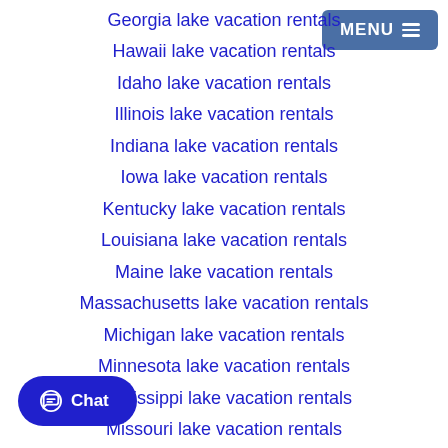Georgia lake vacation rentals
Hawaii lake vacation rentals
Idaho lake vacation rentals
Illinois lake vacation rentals
Indiana lake vacation rentals
Iowa lake vacation rentals
Kentucky lake vacation rentals
Louisiana lake vacation rentals
Maine lake vacation rentals
Massachusetts lake vacation rentals
Michigan lake vacation rentals
Minnesota lake vacation rentals
Mississippi lake vacation rentals
Missouri lake vacation rentals